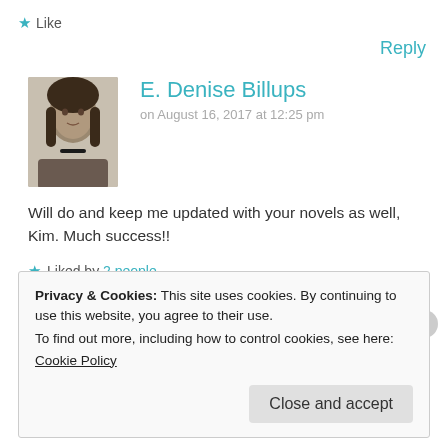★ Like
Reply
[Figure (photo): Black and white portrait photo of E. Denise Billups]
E. Denise Billups
on August 16, 2017 at 12:25 pm
Will do and keep me updated with your novels as well, Kim. Much success!!
★ Liked by 2 people
Privacy & Cookies: This site uses cookies. By continuing to use this website, you agree to their use.
To find out more, including how to control cookies, see here:
Cookie Policy
Close and accept